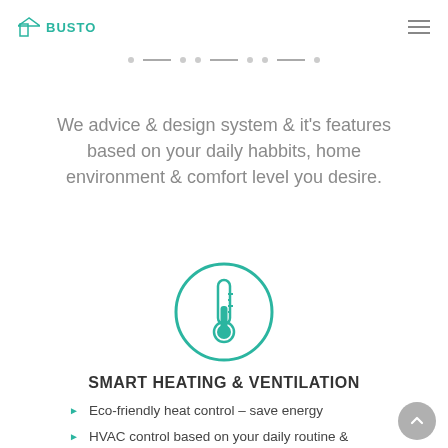BUSTO
We advice & design system & it's features based on your daily habbits, home environment & comfort level you desire.
[Figure (illustration): Teal circle outline containing a thermometer icon, representing smart heating and ventilation.]
SMART HEATING & VENTILATION
Eco-friendly heat control – save energy
HVAC control based on your daily routine & comfort